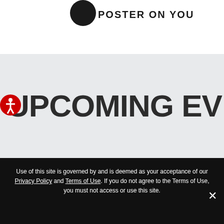[Figure (logo): Black circle logo with text 'POSTER ON YOU' beside it]
UPCOMING EVENTS
[Figure (infographic): Red circular accessibility icon with white person figure]
Use of this site is governed by and is deemed as your acceptance of our Privacy Policy and Terms of Use. If you do not agree to the Terms of Use, you must not access or use this site.